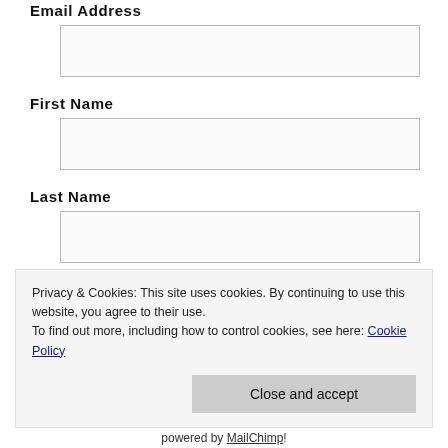Email Address
(email input field)
First Name
(first name input field)
Last Name
(last name input field)
* = required field
Privacy & Cookies: This site uses cookies. By continuing to use this website, you agree to their use.
To find out more, including how to control cookies, see here: Cookie Policy
Close and accept
powered by MailChimp!